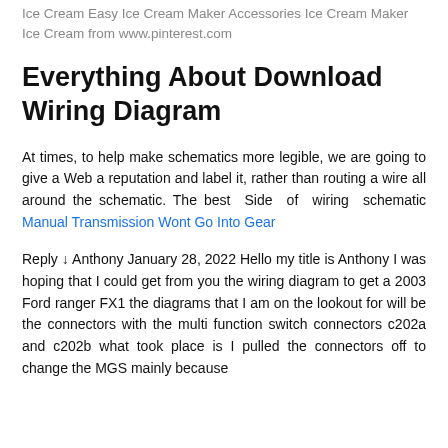Ice Cream Easy Ice Cream Maker Accessories Ice Cream Maker Ice Cream from www.pinterest.com
Everything About Download Wiring Diagram
At times, to help make schematics more legible, we are going to give a Web a reputation and label it, rather than routing a wire all around the schematic. The best Side of wiring schematic Manual Transmission Wont Go Into Gear
Reply ↓ Anthony January 28, 2022 Hello my title is Anthony I was hoping that I could get from you the wiring diagram to get a 2003 Ford ranger FX1 the diagrams that I am on the lookout for will be the connectors with the multi function switch connectors c202a and c202b what took place is I pulled the connectors off to change the MGS mainly because